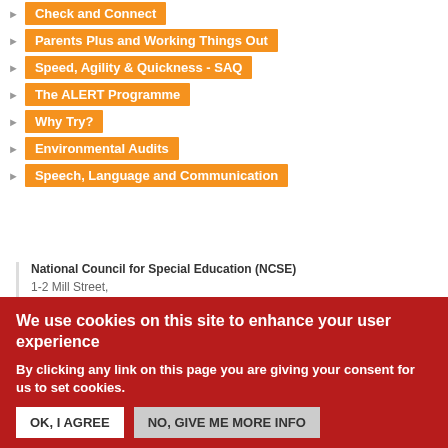Check and Connect
Parents Plus and Working Things Out
Speed, Agility & Quickness - SAQ
The ALERT Programme
Why Try?
Environmental Audits
Speech, Language and Communication
National Council for Special Education (NCSE)
1-2 Mill Street,
Trim
Co. Meath
C15 P2KC
We use cookies on this site to enhance your user experience
By clicking any link on this page you are giving your consent for us to set cookies.